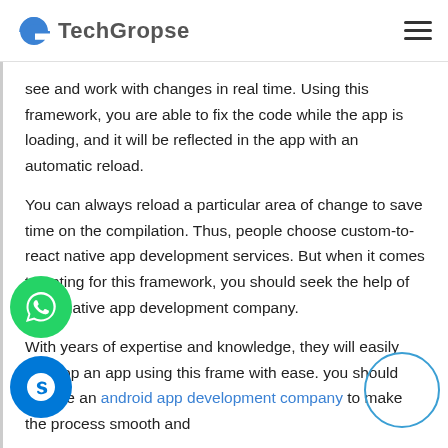TechGropse
see and work with changes in real time. Using this framework, you are able to fix the code while the app is loading, and it will be reflected in the app with an automatic reload.
You can always reload a particular area of change to save time on the compilation. Thus, people choose custom-to-react native app development services. But when it comes to opting for this framework, you should seek the help of react native app development company.
With years of expertise and knowledge, they will easily develop an app using this frame with ease. you should choose an android app development company to make the process smooth and